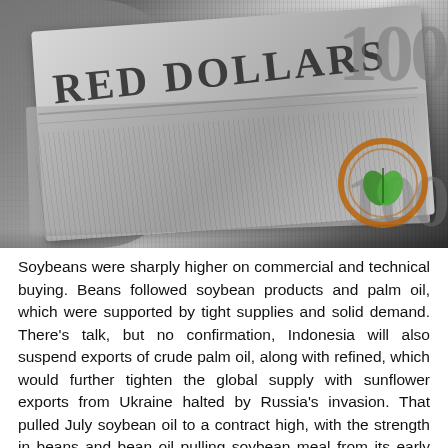[Figure (photo): Black and white close-up photo of US hundred dollar bills with soybeans visible in the background, with a brown and green circular logo/watermark in the lower right corner]
Soybeans were sharply higher on commercial and technical buying. Beans followed soybean products and palm oil, which were supported by tight supplies and solid demand. There's talk, but no confirmation, Indonesia will also suspend exports of crude palm oil, along with refined, which would further tighten the global supply with sunflower exports from Ukraine halted by Russia's invasion. That pulled July soybean oil to a contract high, with the strength in beans and bean oil pulling soybean meal from its early doldrums. Domestic crush margins are strong and more U.S. planting delays are likely.